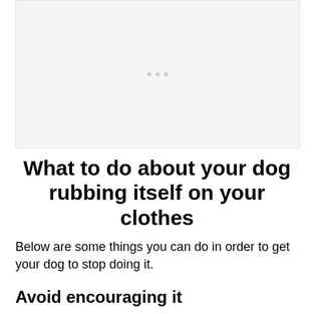[Figure (other): Placeholder image area with light gray background and three small gray dots centered]
What to do about your dog rubbing itself on your clothes
Below are some things you can do in order to get your dog to stop doing it.
Avoid encouraging it